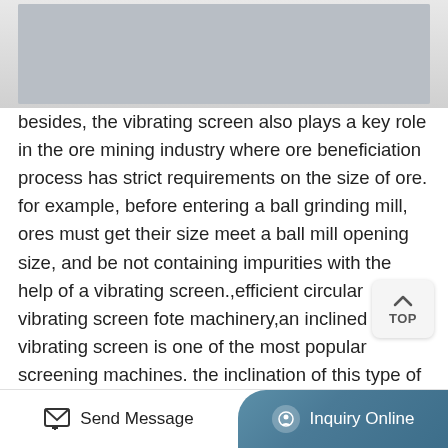[Figure (photo): Photo of industrial vibrating screen equipment with orange metal frame structure on a light-colored surface with yellow grid lines]
besides, the vibrating screen also plays a key role in the ore mining industry where ore beneficiation process has strict requirements on the size of ore. for example, before entering a ball grinding mill, ores must get their size meet a ball mill opening size, and be not containing impurities with the help of a vibrating screen.,efficient circular vibrating screen fote machinery,an inclined vibrating screen is one of the most popular screening machines. the inclination of this type of screen is at the range of 15 to 30 degrees. screening stroke can be adjusted by remove or add eccentric mass and is generally at 8mm to 12mm. the inclined screen utilizes gravity to help
Send Message   Inquiry Online